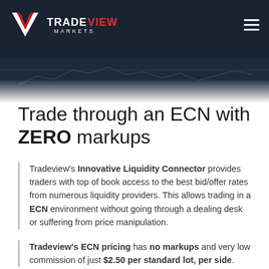TRADEVIEW MARKETS
[Figure (photo): Dark background hero image with trading chart overlay]
Trade through an ECN with ZERO markups
Tradeview's Innovative Liquidity Connector provides traders with top of book access to the best bid/offer rates from numerous liquidity providers. This allows trading in a ECN environment without going through a dealing desk or suffering from price manipulation.
Tradeview's ECN pricing has no markups and very low commission of just $2.50 per standard lot, per side.